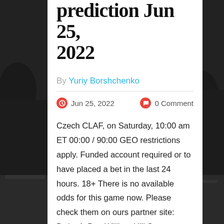[Figure (photo): Black and white background photo of American football players in action]
prediction Jun 25, 2022
By Yuriy Borshchenko
Jun 25, 2022   0 Comment
Czech CLAF, on Saturday, 10:00 am ET 00:00 / 90:00 GEO restrictions apply. Funded account required or to have placed a bet in the last 24 hours. 18+ There is no available odds for this game now. Please check them on ours partner site: Bwin, 1xBet, William Hill Score,